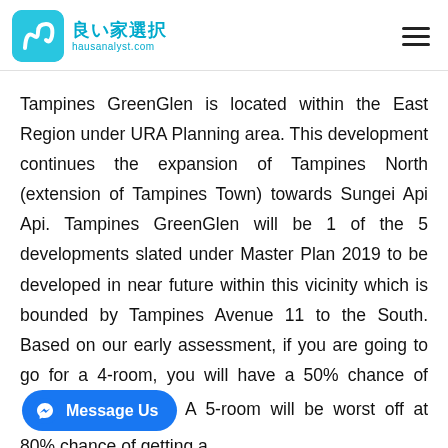良い家選択 hausanalyst.com
Tampines GreenGlen is located within the East Region under URA Planning area. This development continues the expansion of Tampines North (extension of Tampines Town) towards Sungei Api Api. Tampines GreenGlen will be 1 of the 5 developments slated under Master Plan 2019 to be developed in near future within this vicinity which is bounded by Tampines Avenue 11 to the South. Based on our early assessment, if you are going to go for a 4-room, you will have a 50% chance of [Message Us] A 5-room will be worst off at 80% chance of getting a